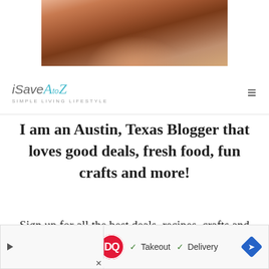[Figure (photo): Partial photo of a woman with red/auburn hair, cropped at the shoulders, showing top portion of the image]
[Figure (logo): iSaveAtoZ logo with cursive teal letters for A to Z and tagline SIMPLE LIVING LIFESTYLE]
I am an Austin, Texas Blogger that loves good deals, fresh food, fun crafts and more!
Sign up for all the best deals, recipes, crafts and more straight to your inbox
[Figure (screenshot): Advertisement banner for Dairy Queen showing DQ logo with checkmarks for Takeout and Delivery, and a navigation arrow button]